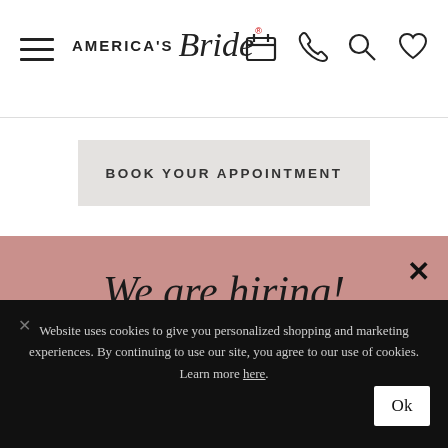America's Bride — navigation header with hamburger menu, logo, calendar, phone, search, and heart icons
BOOK YOUR APPOINTMENT
We are hiring!
We are looking for a Retail Sales Associate to join our weekend team.
Website uses cookies to give you personalized shopping and marketing experiences. By continuing to use our site, you agree to our use of cookies. Learn more here.